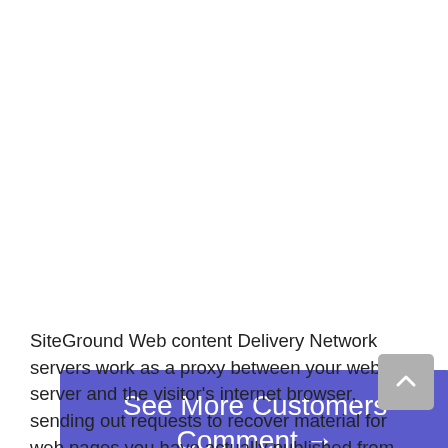[Figure (other): Purple/blue rectangular button with white text reading 'See More Customers Comment →']
SiteGround Web content Delivery Network servers work as a proxy between your web server and the visitor's internet browser, sending out requests to recover material for web pages you have actually published from your website.